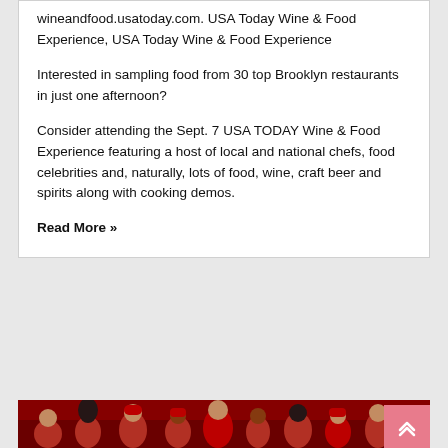wineandfood.usatoday.com. USA Today Wine & Food Experience, USA Today Wine & Food Experience
Interested in sampling food from 30 top Brooklyn restaurants in just one afternoon?
Consider attending the Sept. 7 USA TODAY Wine & Food Experience featuring a host of local and national chefs, food celebrities and, naturally, lots of food, wine, craft beer and spirits along with cooking demos.
Read More »
[Figure (photo): Photo of football players/crowd with red jerseys/hats at a sporting event]